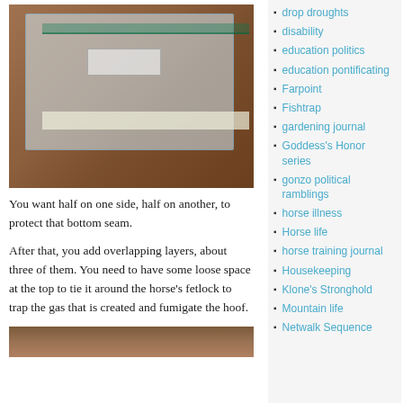[Figure (photo): A transparent ziplock plastic bag with a white label, containing what appears to be something placed on a wooden surface. Tape is visible at the bottom of the bag.]
You want half on one side, half on another, to protect that bottom seam.
After that, you add overlapping layers, about three of them. You need to have some loose space at the top to tie it around the horse’s fetlock to trap the gas that is created and fumigate the hoof.
[Figure (photo): Partial view of a second photo at the bottom of the page, appears to show a brown/reddish surface.]
disability
education politics
education pontificating
Farpoint
Fishtrap
gardening journal
Goddess’s Honor series
gonzo political ramblings
horse illness
Horse life
horse training journal
Housekeeping
Klone’s Stronghold
Mountain life
Netwalk Sequence